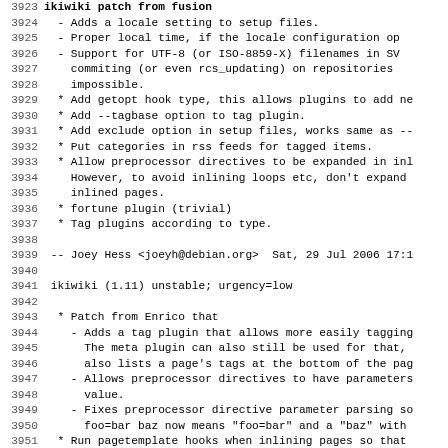Code/changelog listing lines 3923-3955 showing ikiwiki changelog entries
3924: - Adds a locale setting to setup files.
3925: - Proper local time, if the locale configuration op
3926: - Support for UTF-8 (or ISO-8859-X) filenames in SV
3927:   commiting (or even rcs_updating) on repositories
3928:   impossible.
3929: * Add getopt hook type, this allows plugins to add ne
3930: * Add --tagbase option to tag plugin.
3931: * Add exclude option in setup files, works same as --
3932: * Put categories in rss feeds for tagged items.
3933: * Allow preprocessor directives to be expanded in inl
3934:   However, to avoid inlining loops etc, don't expand
3935:   inlined pages.
3936: * fortune plugin (trivial)
3937: * Tag plugins according to type.
3939: -- Joey Hess <joeyh@debian.org>  Sat, 29 Jul 2006 17:1
3941: ikiwiki (1.11) unstable; urgency=low
3943: * Patch from Enrico that
3944:   - Adds a tag plugin that allows more easily tagging
3945:     The meta plugin can also still be used for that,
3946:     also lists a page's tags at the bottom of the pag
3947:   - Allows preprocessor directives to have parameters
3948:     value.
3949:   - Fixes preprocessor directive parameter parsing so
3950:     foo=bar baz now means "foo=bar" and a "baz" with
3951: * Run pagetemplate hooks when inlining pages so that
3952:   list their tags.
3953: * Make all plugins with pagetemplate hooks check that
3954:   on the template before setting them, for robustness
3955: * Switch pagetemplate hooks to using named parameter